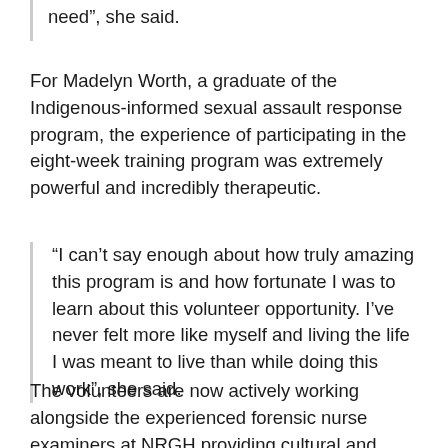need”, she said.
For Madelyn Worth, a graduate of the Indigenous-informed sexual assault response program, the experience of participating in the eight-week training program was extremely powerful and incredibly therapeutic.
“I can’t say enough about how truly amazing this program is and how fortunate I was to learn about this volunteer opportunity. I’ve never felt more like myself and living the life I was meant to live than while doing this work”, she said.
The volunteers are now actively working alongside the experienced forensic nurse examiners at NRGH providing cultural and emotional comfort and support